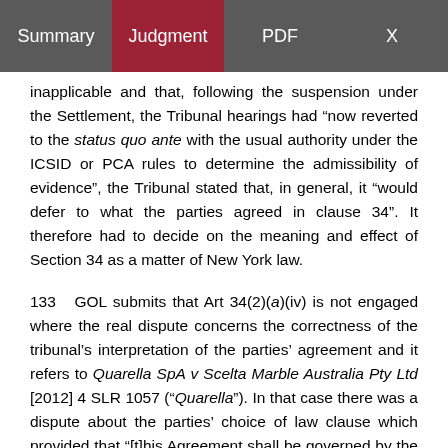Summary | Judgment | PDF | X
inapplicable and that, following the suspension under the Settlement, the Tribunal hearings had “now reverted to the status quo ante with the usual authority under the ICSID or PCA rules to determine the admissibility of evidence”, the Tribunal stated that, in general, it “would defer to what the parties agreed in clause 34”. It therefore had to decide on the meaning and effect of Section 34 as a matter of New York law.
133   GOL submits that Art 34(2)(a)(iv) is not engaged where the real dispute concerns the correctness of the tribunal’s interpretation of the parties’ agreement and it refers to Quarella SpA v Scelta Marble Australia Pty Ltd [2012] 4 SLR 1057 (“Quarella”). In that case there was a dispute about the parties’ choice of law clause which provided that “[t]his Agreement shall be governed by the Uniform Law for International Sales under the United